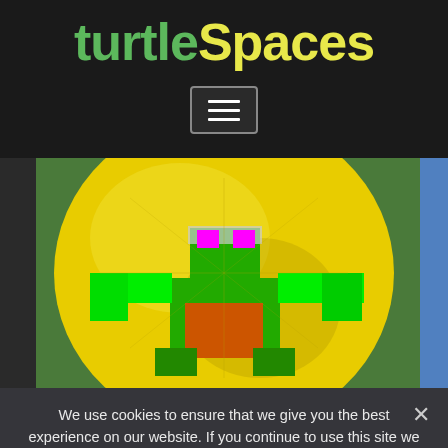turtleSpaces
[Figure (screenshot): Menu/hamburger button on dark background]
[Figure (photo): 3D pixelated turtle character with green body, yellow shell, magenta eyes, on green background]
We use cookies to ensure that we give you the best experience on our website. If you continue to use this site we will assume that you are happy with it.
Ok